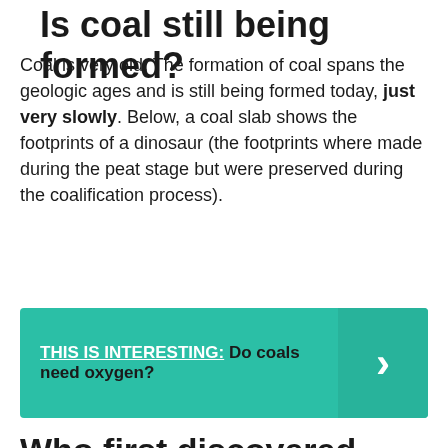Is coal still being formed?
Coal is very old. The formation of coal spans the geologic ages and is still being formed today, just very slowly. Below, a coal slab shows the footprints of a dinosaur (the footprints where made during the peat stage but were preserved during the coalification process).
[Figure (infographic): Teal/green callout box with text 'THIS IS INTERESTING: Do coals need oxygen?' and a right-arrow chevron on the right side]
Who first discovered coal?
Coal was one of man's earliest sources of heat and light. The Chinese were known to